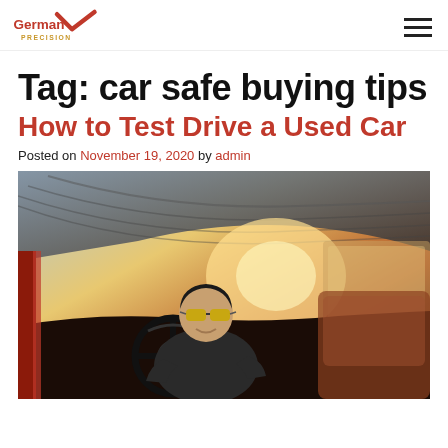German Precision [logo] [hamburger menu]
Tag: car safe buying tips
How to Test Drive a Used Car
Posted on November 19, 2020 by admin
[Figure (photo): Young man with yellow-tinted sunglasses sitting in the driver seat of a vintage red vehicle, gripping the steering wheel, warm sunlight coming through the windshield]